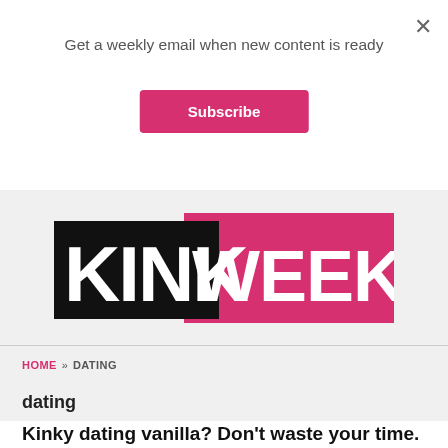Get a weekly email when new content is ready
Subscribe
[Figure (logo): Kink Weekly logo — 'KINK' in white bold text on black background, 'WEEKLY' in white bold text on pink/magenta background]
HOME » DATING
dating
Kinky dating vanilla? Don't waste your time.